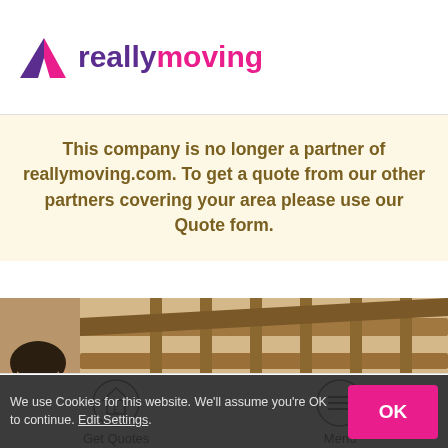[Figure (logo): reallymoving logo with purple triangle/house icon, 'really' in purple bold and 'moving' in pink bold]
This company is no longer a partner of reallymoving.com. To get a quote from our other partners covering your area please use our Quote form.
[Figure (photo): Photo of a man looking down near a wooden staircase banister]
We use Cookies for this website. We'll assume you're OK to continue. Edit Settings.
OK
Get Quotes
Menu